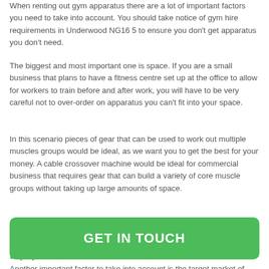When renting out gym apparatus there are a lot of important factors you need to take into account. You should take notice of gym hire requirements in Underwood NG16 5 to ensure you don't get apparatus you don't need.
The biggest and most important one is space. If you are a small business that plans to have a fitness centre set up at the office to allow for workers to train before and after work, you will have to be very careful not to over-order on apparatus you can't fit into your space.
In this scenario pieces of gear that can be used to work out multiple muscles groups would be ideal, as we want you to get the best for your money. A cable crossover machine would be ideal for commercial business that requires gear that can build a variety of core muscle groups without taking up large amounts of space.
[Figure (other): Green rounded button with text GET IN TOUCH]
Equipment Available To Lease
Another important factor to take into account is the target market of